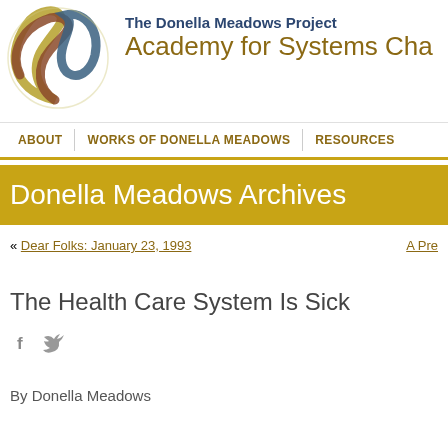[Figure (logo): The Donella Meadows Project / Academy for Systems Change logo — abstract interlocking curves in olive/gold, brown/rust, and teal/blue colors]
The Donella Meadows Project
Academy for Systems Cha
ABOUT | WORKS OF DONELLA MEADOWS | RESOURCES
Donella Meadows Archives
« Dear Folks: January 23, 1993   A Pre
The Health Care System Is Sick
[Figure (other): Social sharing icons: Facebook (f) and Twitter (bird)]
By Donella Meadows